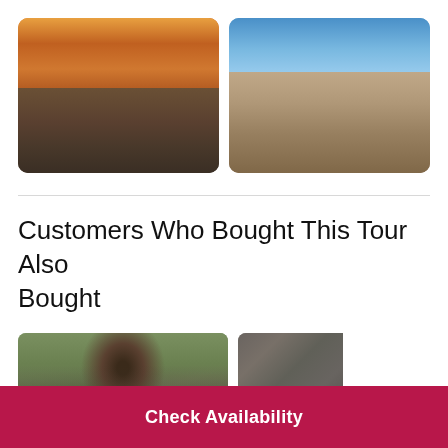[Figure (photo): Aerial/elevated view of ancient stone buildings with dramatic orange and red sunset sky]
[Figure (photo): Panoramic view of ancient stone city under bright blue sky with few white clouds]
Customers Who Bought This Tour Also Bought
[Figure (photo): Close-up photo of a person with curly dark hair outdoors]
[Figure (photo): Stone architectural detail with ornate carved elements]
Check Availability